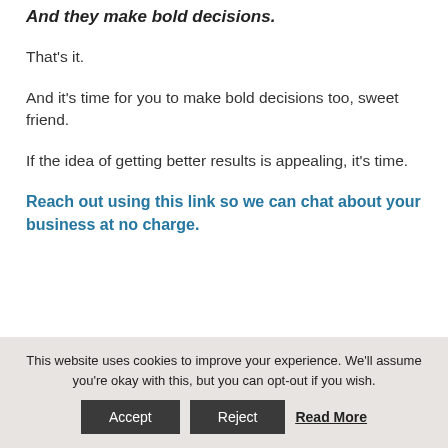And they make bold decisions.
That's it.
And it's time for you to make bold decisions too, sweet friend.
If the idea of getting better results is appealing, it's time.
Reach out using this link so we can chat about your business at no charge.
This website uses cookies to improve your experience. We'll assume you're okay with this, but you can opt-out if you wish.
Accept
Reject
Read More